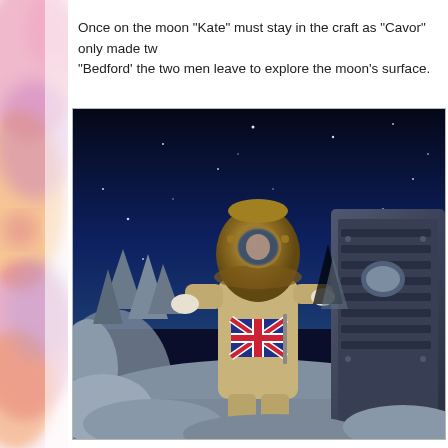[Figure (illustration): Watercolor illustration on the left edge of the page, showing warm orange, pink, and purple tones — appears to be a decorative floral or abstract watercolor border.]
Once on the moon "Kate" must stay in the craft as "Cavor" only made two suits. With "Bedford' the two men leave to explore the moon's surface.
[Figure (photo): Film still showing an actor in a vintage brass diving helmet/spacesuit standing on a moon set with jagged grey rocks. The actor is holding a Union Jack (British flag). The background shows a dark starry sky. To the right is part of a metallic spacecraft prop.]